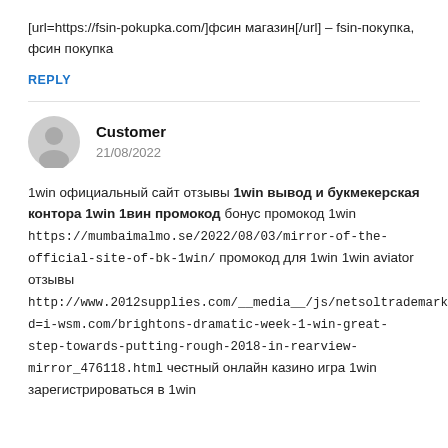[url=https://fsin-pokupka.com/]фсин магазин[/url] – fsin-покупка, фсин покупка
REPLY
Customer
21/08/2022
1win официальный сайт отзывы 1win вывод и букмекерская контора 1win 1вин промокод бонус промокод 1win https://mumbaimalmo.se/2022/08/03/mirror-of-the-official-site-of-bk-1win/ промокод для 1win 1win aviator отзывы http://www.2012supplies.com/__media__/js/netsoltrademark?d=i-wsm.com/brightons-dramatic-week-1-win-great-step-towards-putting-rough-2018-in-rearview-mirror_476118.html честный онлайн казино игра 1win зарегистрироваться в 1win